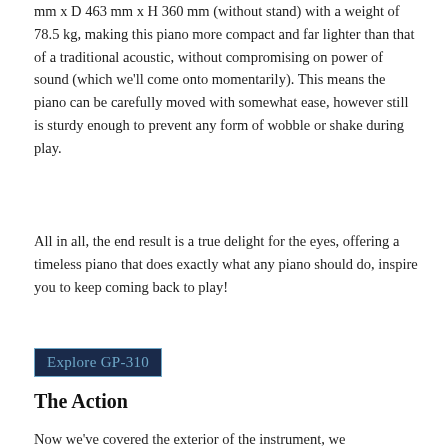mm x D 463 mm x H 360 mm (without stand) with a weight of 78.5 kg, making this piano more compact and far lighter than that of a traditional acoustic, without compromising on power of sound (which we'll come onto momentarily). This means the piano can be carefully moved with somewhat ease, however still is sturdy enough to prevent any form of wobble or shake during play.
All in all, the end result is a true delight for the eyes, offering a timeless piano that does exactly what any piano should do, inspire you to keep coming back to play!
Explore GP-310
The Action
Now we've covered the exterior of the instrument, we